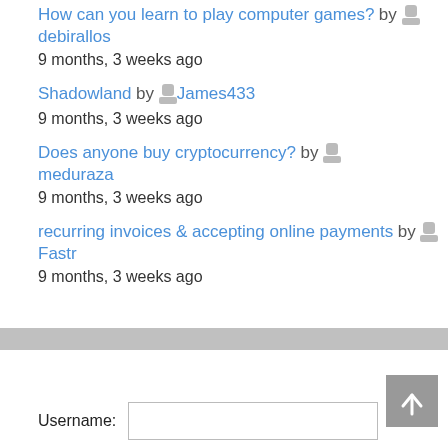How can you learn to play computer games? by debirallos
9 months, 3 weeks ago
Shadowland by James433
9 months, 3 weeks ago
Does anyone buy cryptocurrency? by meduraza
9 months, 3 weeks ago
recurring invoices & accepting online payments by Fastr
9 months, 3 weeks ago
Username: